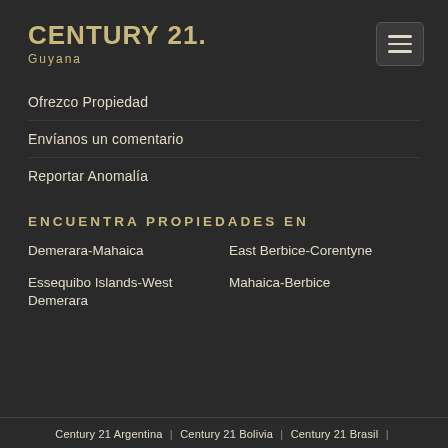CENTURY 21. Guyana
Ofrezco Propiedad
Envíanos un comentario
Reportar Anomalía
ENCUENTRA PROPIEDADES EN
Demerara-Mahaica
East Berbice-Corentyne
Essequibo Islands-West Demerara
Mahaica-Berbice
Century 21 Argentina | Century 21 Bolivia | Century 21 Brasil |